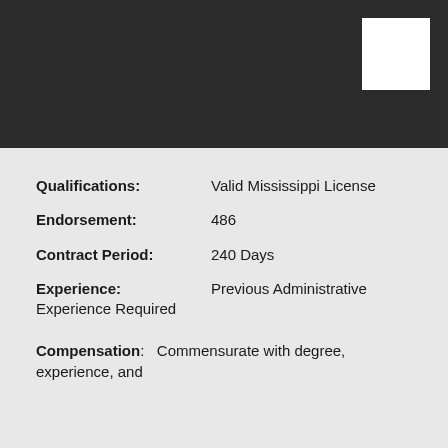Qualifications: Valid Mississippi License
Endorsement: 486
Contract Period: 240 Days
Experience: Previous Administrative Experience Required
Compensation: Commensurate with degree, experience, and